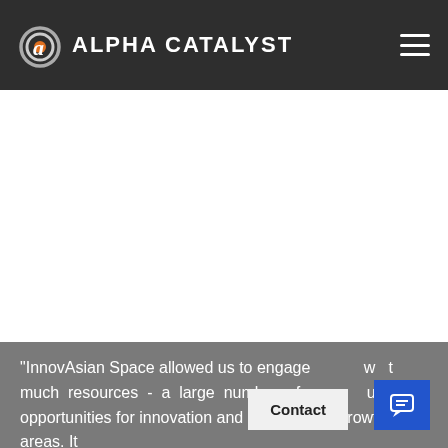Alpha Catalyst
"InnovAsian Space allowed us to engage [                ] w[ithou]t much resources - a large number of e[xperts]  u[nlocking] opportunities for innovation and explore new growth areas. It